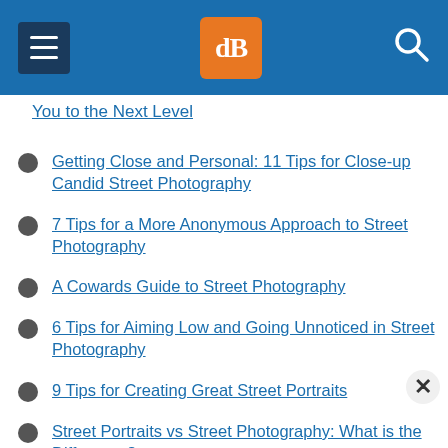dPS website header with menu, logo, and search
You to the Next Level
Getting Close and Personal: 11 Tips for Close-up Candid Street Photography
7 Tips for a More Anonymous Approach to Street Photography
A Cowards Guide to Street Photography
6 Tips for Aiming Low and Going Unnoticed in Street Photography
9 Tips for Creating Great Street Portraits
Street Portraits vs Street Photography: What is the Difference?